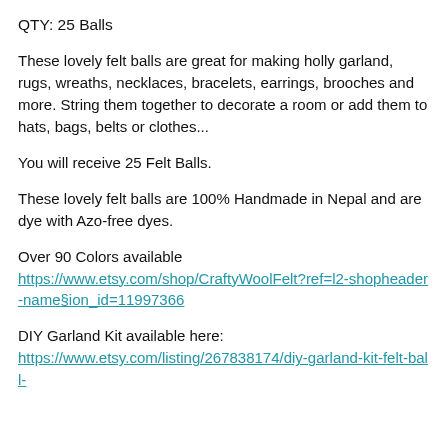QTY: 25 Balls
These lovely felt balls are great for making holly garland, rugs, wreaths, necklaces, bracelets, earrings, brooches and more. String them together to decorate a room or add them to hats, bags, belts or clothes...
You will receive 25 Felt Balls.
These lovely felt balls are 100% Handmade in Nepal and are dye with Azo-free dyes.
Over 90 Colors available
https://www.etsy.com/shop/CraftyWoolFelt?ref=l2-shopheader-name§ion_id=11997366
DIY Garland Kit available here:
https://www.etsy.com/listing/267838174/div-garland-kit-felt-ball-